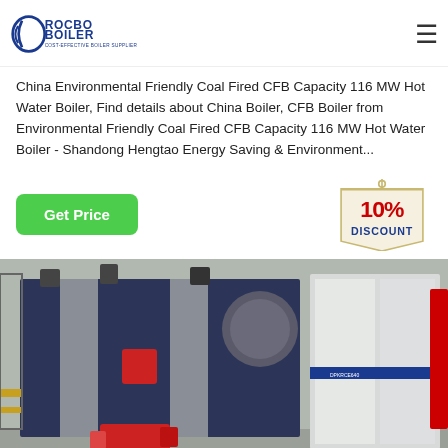ROCBO BOILER - COST-EFFECTIVE BOILER SUPPLIER
China Environmental Friendly Coal Fired CFB Capacity 116 MW Hot Water Boiler, Find details about China Boiler, CFB Boiler from Environmental Friendly Coal Fired CFB Capacity 116 MW Hot Water Boiler - Shandong Hengtao Energy Saving & Environment...
[Figure (infographic): Green 'Get Price' button on the left and a 10% DISCOUNT badge/tag on the right]
[Figure (photo): Industrial boiler equipment in a factory setting, showing dark blue/grey boiler units with silver panels, red burner unit at bottom, and white equipment on the right side]